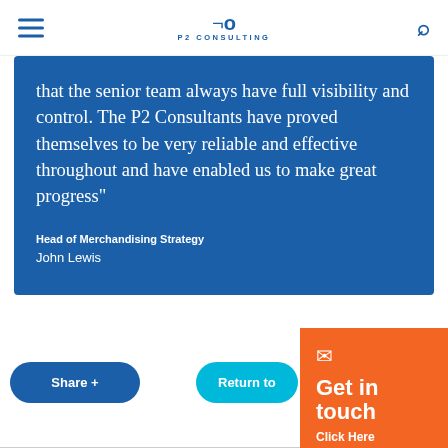P2 CONSULTING
that the senior team always have full visibility and control. The P2 Consultants have proved themselves to be very reliable and effective throughout and have enabled us to make great progress"
Head of Merchandising Strategy
John Lewis
Share +
Return to
Get in touch
Click Here